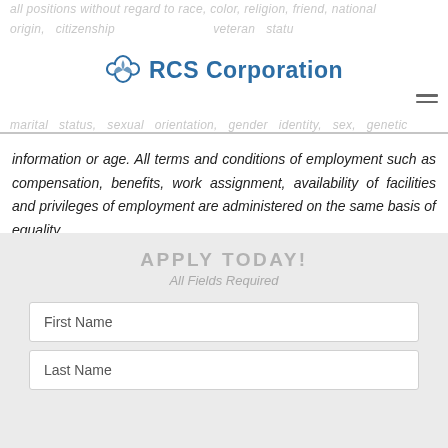RCS Corporation
all positions without regard to race, color, religion, friend, national origin, citizenship status, gender, veteran status, disability, marital status, sexual orientation, gender identity, sex, genetic information or age. All terms and conditions of employment such as compensation, benefits, work assignment, availability of facilities and privileges of employment are administered on the same basis of equality.
APPLY TODAY!
All Fields Required
First Name
Last Name